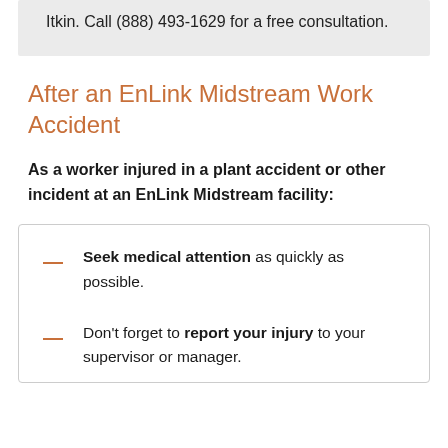Itkin. Call (888) 493-1629 for a free consultation.
After an EnLink Midstream Work Accident
As a worker injured in a plant accident or other incident at an EnLink Midstream facility:
Seek medical attention as quickly as possible.
Don't forget to report your injury to your supervisor or manager.